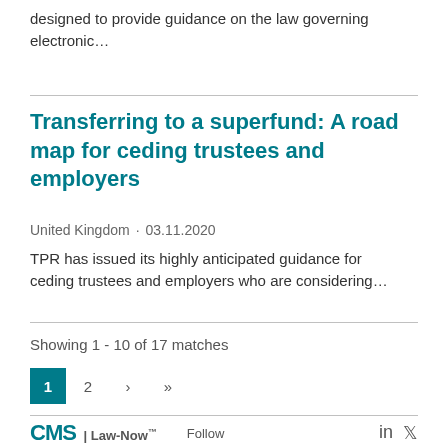designed to provide guidance on the law governing electronic…
Transferring to a superfund: A road map for ceding trustees and employers
United Kingdom · 03.11.2020
TPR has issued its highly anticipated guidance for ceding trustees and employers who are considering…
Showing 1 - 10 of 17 matches
1  2  >  »
CMS | Law-Now™